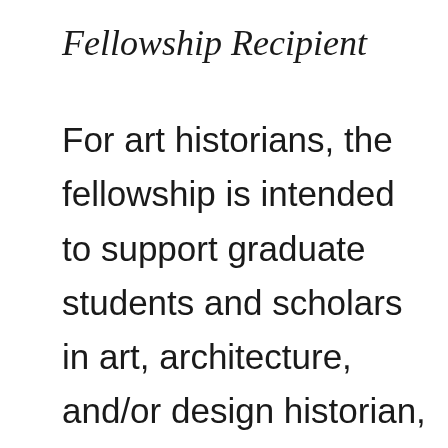Fellowship Recipient
For art historians, the fellowship is intended to support graduate students and scholars in art, architecture, and/or design historian, curator, or critic who are conducting research in their final year to complete their PhD. The award can help with various aspects of his/her work, whether